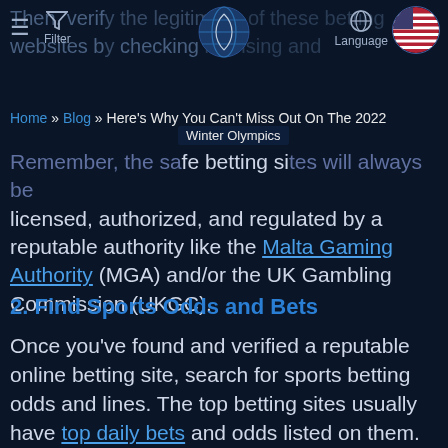Then, verify the legitimacy of these betting websites by checking licensing and... Filter | Language
Home » Blog » Here's Why You Can't Miss Out On The 2022 Winter Olympics
Remember, the safest betting sites will always be licensed, authorized, and regulated by a reputable authority like the Malta Gaming Authority (MGA) and/or the UK Gambling Commission (UKGC).
2. Find Sports Odds and Bets
Once you've found and verified a reputable online betting site, search for sports betting odds and lines. The top betting sites usually have top daily bets and odds listed on them. Search for the specific sport, tournament, and game/match you're interested in.
If you're a beginner, you can research how to